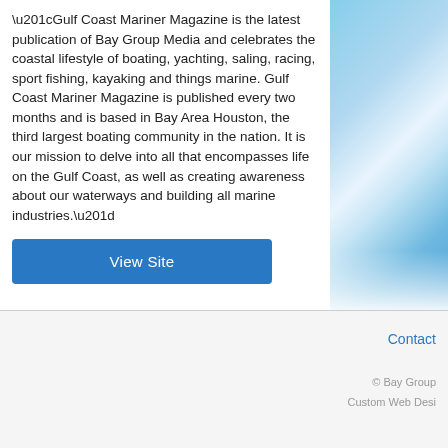“Gulf Coast Mariner Magazine is the latest publication of Bay Group Media and celebrates the coastal lifestyle of boating, yachting, saling, racing, sport fishing, kayaking and things marine. Gulf Coast Mariner Magazine is published every two months and is based in Bay Area Houston, the third largest boating community in the nation. It is our mission to delve into all that encompasses life on the Gulf Coast, as well as creating awareness about our waterways and building all marine industries.”
[Figure (photo): Partial photo of a colorful scene with blue sky and water/splash, cropped on the right side of the layout]
View Site
Contact
© Bay Group
Custom Web Desi